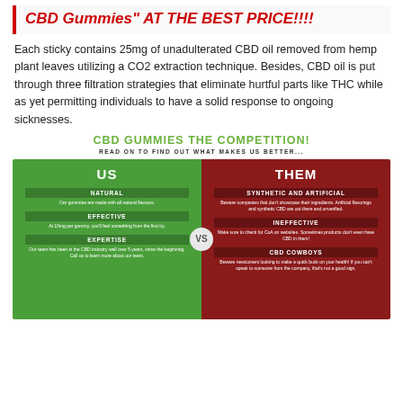CBD Gummies" AT THE BEST PRICE!!!!
Each sticky contains 25mg of unadulterated CBD oil removed from hemp plant leaves utilizing a CO2 extraction technique. Besides, CBD oil is put through three filtration strategies that eliminate hurtful parts like THC while as yet permitting individuals to have a solid response to ongoing sicknesses.
CBD GUMMIES THE COMPETITION!
READ ON TO FIND OUT WHAT MAKES US BETTER...
[Figure (infographic): Comparison infographic split into two halves: left green side labeled US with features NATURAL, EFFECTIVE, EXPERTISE; right dark red side labeled THEM with features SYNTHETIC AND ARTIFICIAL, INEFFECTIVE, CBD COWBOYS. VS badge in the center.]